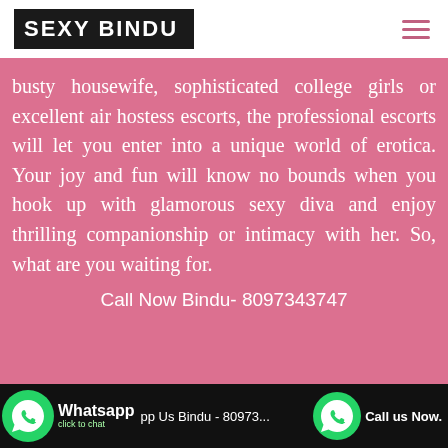SEXY BINDU
busty housewife, sophisticated college girls or excellent air hostess escorts, the professional escorts will let you enter into a unique world of erotica. Your joy and fun will know no bounds when you hook up with glamorous sexy diva and enjoy thrilling companionship or intimacy with her. So, what are you waiting for.
Call Now Bindu- 8097343747
Whatsapp click to chat  pp Us Bindu - 80973...  Call us Now.